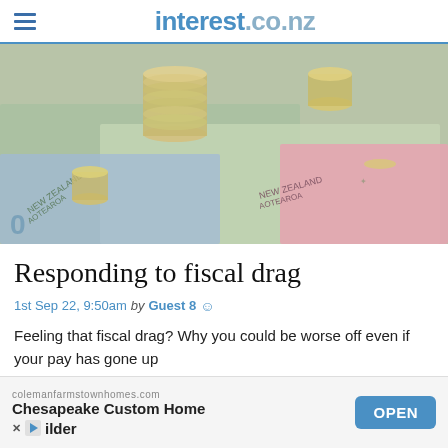interest.co.nz
[Figure (photo): Stack of coins on top of New Zealand banknotes and currency, including NZ dollar notes with 'New Zealand Aotearoa' text visible]
Responding to fiscal drag
1st Sep 22, 9:50am by Guest 8
Feeling that fiscal drag? Why you could be worse off even if your pay has gone up
[Figure (photo): Partially visible next article image strip at bottom]
colemanfarmstownhomes.com Chesapeake Custom Home Builder